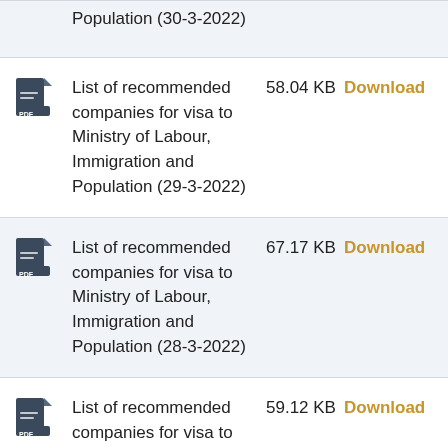Population (30-3-2022)
List of recommended companies for visa to Ministry of Labour, Immigration and Population (29-3-2022) — 58.04 KB — Download
List of recommended companies for visa to Ministry of Labour, Immigration and Population (28-3-2022) — 67.17 KB — Download
List of recommended companies for visa to Ministry of Labour, Immigration and Population — 59.12 KB — Download